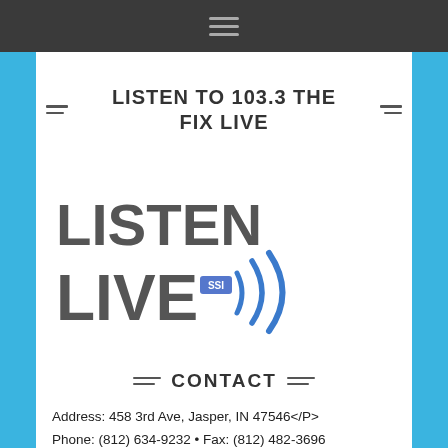≡ (hamburger menu icon)
LISTEN TO 103.3 THE FIX LIVE
[Figure (logo): Listen Live logo with bold grey text 'LISTEN LIVE' and blue streaming signal waves icon with SSI badge]
≡ CONTACT ≡
Address: 458 3rd Ave, Jasper, IN 47546</P>
Phone: (812) 634-9232 • Fax: (812) 482-3696